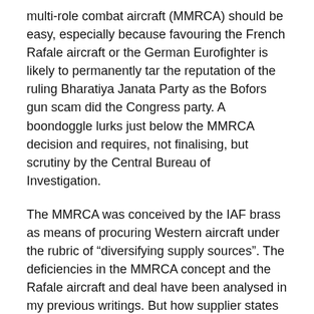multi-role combat aircraft (MMRCA) should be easy, especially because favouring the French Rafale aircraft or the German Eurofighter is likely to permanently tar the reputation of the ruling Bharatiya Janata Party as the Bofors gun scam did the Congress party. A boondoggle lurks just below the MMRCA decision and requires, not finalising, but scrutiny by the Central Bureau of Investigation.
The MMRCA was conceived by the IAF brass as means of procuring Western aircraft under the rubric of “diversifying supply sources”. The deficiencies in the MMRCA concept and the Rafale aircraft and deal have been analysed in my previous writings. But how supplier states brazenly play a con game using transfer of technology (TOT) provisions with the full connivance and complicity of the ministry of